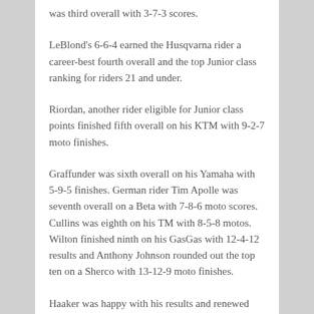was third overall with 3-7-3 scores.
LeBlond's 6-6-4 earned the Husqvarna rider a career-best fourth overall and the top Junior class ranking for riders 21 and under.
Riordan, another rider eligible for Junior class points finished fifth overall on his KTM with 9-2-7 moto finishes.
Graffunder was sixth overall on his Yamaha with 5-9-5 finishes. German rider Tim Apolle was seventh overall on a Beta with 7-8-6 moto scores. Cullins was eighth on his TM with 8-5-8 motos. Wilton finished ninth on his GasGas with 12-4-12 results and Anthony Johnson rounded out the top ten on a Sherco with 13-12-9 moto finishes.
Haaker was happy with his results and renewed